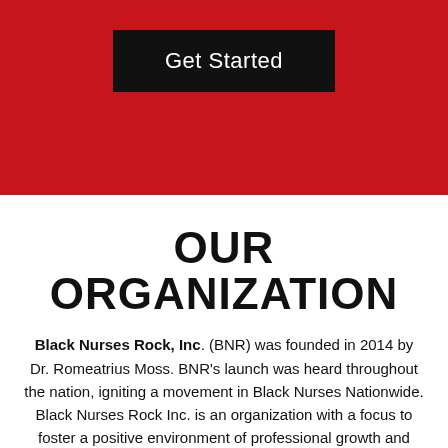[Figure (other): Red background section with a black 'Get Started' button centered near the top]
OUR ORGANIZATION
Black Nurses Rock, Inc. (BNR) was founded in 2014 by Dr. Romeatrius Moss. BNR's launch was heard throughout the nation, igniting a movement in Black Nurses Nationwide. Black Nurses Rock Inc. is an organization with a focus to foster a positive environment of professional growth and development. We provide support and mentorship to nurses in an effort to elevate our profession and improve our